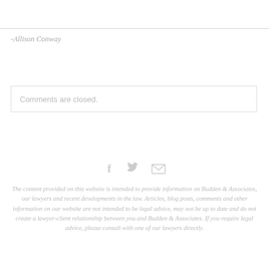-Allison Conway
Comments are closed.
[Figure (infographic): Social sharing icons: Facebook (f), Twitter (bird), Email (envelope)]
The content provided on this website is intended to provide information on Budden & Associates, our lawyers and recent developments in the law. Articles, blog posts, comments and other information on our website are not intended to be legal advice, may not be up to date and do not create a lawyer-client relationship between you and Budden & Associates. If you require legal advice, please consult with one of our lawyers directly.